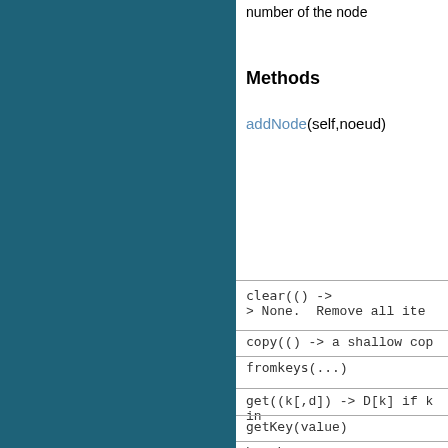number of the node
Methods
addNode(self,noeud)
clear(() -> None.  Remove all ite
copy(() -> a shallow cop
fromkeys(...)
get((k[,d]) -> D[k] if k in
getKey(value)
has_key((k) -> True if D has a key k.